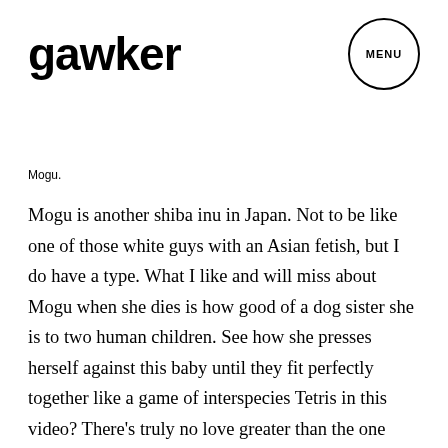gawker
Mogu.
Mogu is another shiba inu in Japan. Not to be like one of those white guys with an Asian fetish, but I do have a type. What I like and will miss about Mogu when she dies is how good of a dog sister she is to two human children. See how she presses herself against this baby until they fit perfectly together like a game of interspecies Tetris in this video? There’s truly no love greater than the one between a dog and a baby, unless it’s between a dog and someone who follows her on Instagram. I’ll be 8/10 sad when Mogu dies.